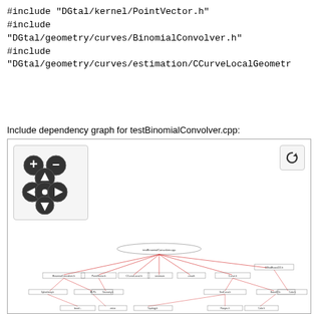#include "DGtal/kernel/PointVector.h"
#include
"DGtal/geometry/curves/BinomialConvolver.h"
#include
"DGtal/geometry/curves/estimation/CCurveLocalGeometr
Include dependency graph for testBinomialConvolver.cpp:
[Figure (network-graph): Include dependency graph for testBinomialConvolver.cpp showing a network of header file dependencies. The graph has navigation controls (zoom in/out, pan) in the upper left and a reset button in the upper right. The lower portion shows a complex directed graph with many nodes connected by lines, representing header file dependencies.]